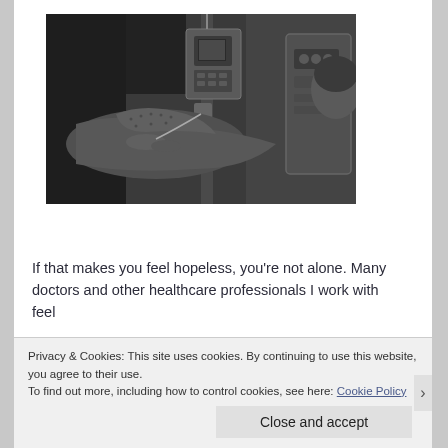[Figure (photo): Black and white photograph of a patient lying in a hospital bed with IV equipment and medical devices visible beside them.]
If that makes you feel hopeless, you’re not alone. Many doctors and other healthcare professionals I work with feel
Privacy & Cookies: This site uses cookies. By continuing to use this website, you agree to their use.
To find out more, including how to control cookies, see here: Cookie Policy
Close and accept